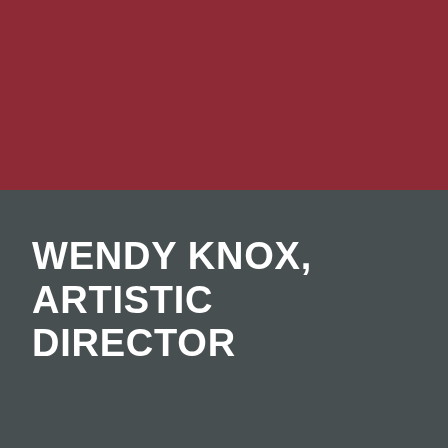[Figure (illustration): Dark red/crimson rectangular color block occupying the top portion of the page]
WENDY KNOX, ARTISTIC DIRECTOR